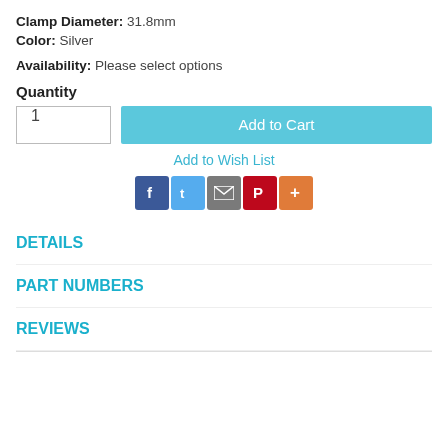Clamp Diameter: 31.8mm
Color: Silver
Availability: Please select options
Quantity
1
Add to Cart
Add to Wish List
[Figure (infographic): Social sharing icons: Facebook (blue), Twitter (light blue), Email (gray), Pinterest (red), More/Plus (orange)]
DETAILS
PART NUMBERS
REVIEWS